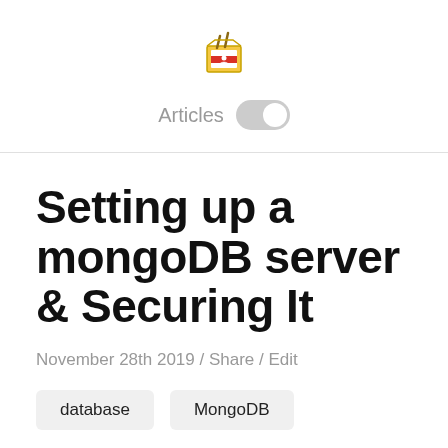Articles
Setting up a mongoDB server & Securing It
November 28th 2019 / Share / Edit
database
MongoDB